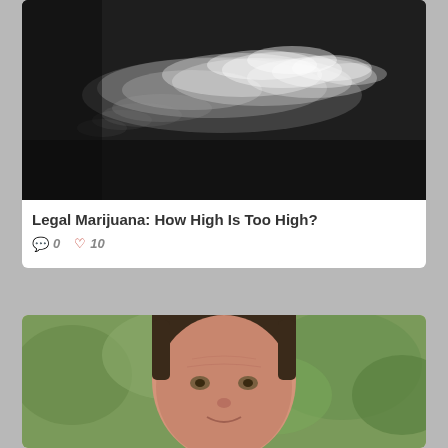[Figure (photo): Dark background with white smoke cloud drifting horizontally]
Legal Marijuana: How High Is Too High?
💬 0   ♡ 10
[Figure (photo): Close-up portrait of a middle-aged man with dark hair against green foliage background]